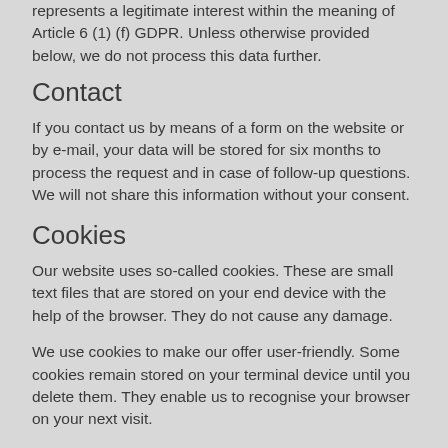represents a legitimate interest within the meaning of Article 6 (1) (f) GDPR. Unless otherwise provided below, we do not process this data further.
Contact
If you contact us by means of a form on the website or by e-mail, your data will be stored for six months to process the request and in case of follow-up questions. We will not share this information without your consent.
Cookies
Our website uses so-called cookies. These are small text files that are stored on your end device with the help of the browser. They do not cause any damage.
We use cookies to make our offer user-friendly. Some cookies remain stored on your terminal device until you delete them. They enable us to recognise your browser on your next visit.